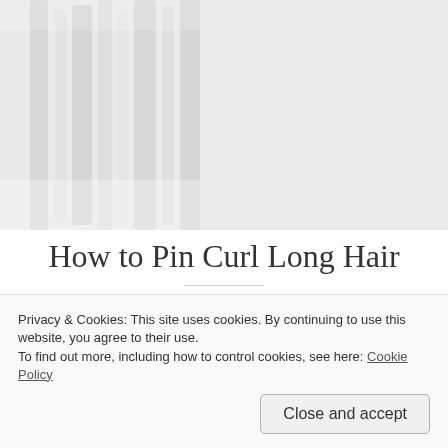[Figure (photo): Partial photo of white towels or fabric against a light background, cropped at top]
How to Pin Curl Long Hair
May 12, 2012  ·  Beth  ·  10 Comments
This tutorial is long and meandering, but I pinky-swear promise that figuring out how to pin curl long hair is not difficult. Once you get used to doing it, it usually takes
Privacy & Cookies: This site uses cookies. By continuing to use this website, you agree to their use.
To find out more, including how to control cookies, see here: Cookie Policy
Close and accept